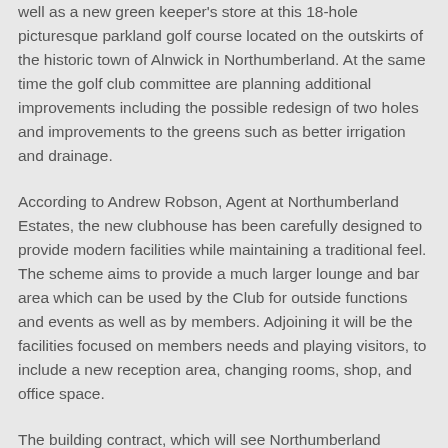well as a new green keeper's store at this 18-hole picturesque parkland golf course located on the outskirts of the historic town of Alnwick in Northumberland. At the same time the golf club committee are planning additional improvements including the possible redesign of two holes and improvements to the greens such as better irrigation and drainage.
According to Andrew Robson, Agent at Northumberland Estates, the new clubhouse has been carefully designed to provide modern facilities while maintaining a traditional feel. The scheme aims to provide a much larger lounge and bar area which can be used by the Club for outside functions and events as well as by members. Adjoining it will be the facilities focused on members needs and playing visitors, to include a new reception area, changing rooms, shop, and office space.
The building contract, which will see Northumberland Estates invest